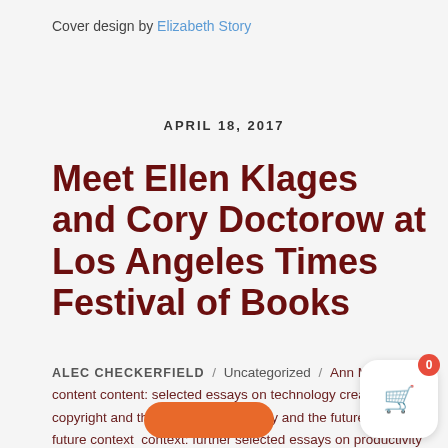Cover design by Elizabeth Story
APRIL 18, 2017
Meet Ellen Klages and Cory Doctorow at Los Angeles Times Festival of Books
ALEC CHECKERFIELD / Uncategorized / Ann Monn content content: selected essays on technology creativity copyright and the future of technology and the future of the future context context: further selected essays on productivity creativity parenting and politics in the 21st century cory doctorow eleanor farrell elizabeth story ellen klages emily netterfield los angeles festival of books portable childhoods wicked wonders /